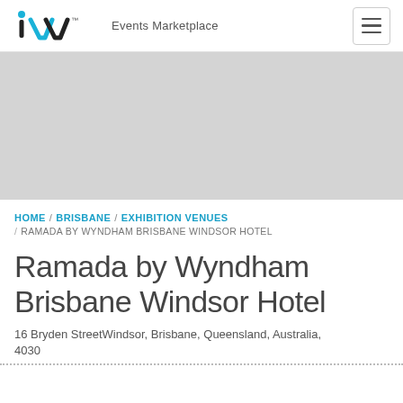iVvy™ Events Marketplace
[Figure (screenshot): Gray hero image placeholder banner]
HOME / BRISBANE / EXHIBITION VENUES / RAMADA BY WYNDHAM BRISBANE WINDSOR HOTEL
Ramada by Wyndham Brisbane Windsor Hotel
16 Bryden StreetWindsor, Brisbane, Queensland, Australia, 4030